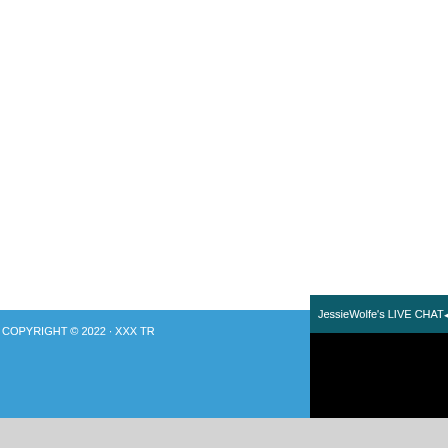[Figure (screenshot): White blank area taking up most of the upper portion of the page, representing a webpage background.]
COPYRIGHT © 2022 · XXX TR
[Figure (screenshot): Live chat popup window with dark teal header showing 'JessieWolfe's LIVE CHAT' with mute and close buttons, and a black content area below.]
[Figure (screenshot): Windows taskbar gray bar at the bottom with a small thumbnail icon.]